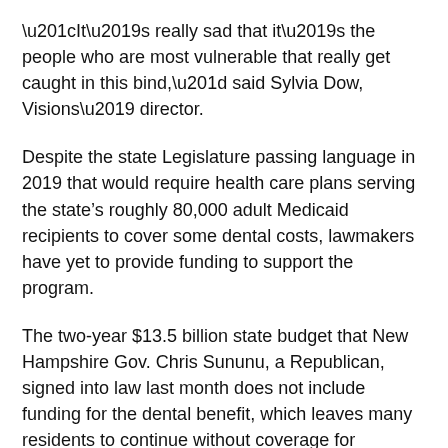“It’s really sad that it’s the people who are most vulnerable that really get caught in this bind,” said Sylvia Dow, Visions’ director.
Despite the state Legislature passing language in 2019 that would require health care plans serving the state’s roughly 80,000 adult Medicaid recipients to cover some dental costs, lawmakers have yet to provide funding to support the program.
The two-year $13.5 billion state budget that New Hampshire Gov. Chris Sununu, a Republican, signed into law last month does not include funding for the dental benefit, which leaves many residents to continue without coverage for preventive or restorative oral health care.
Often, the only option for these patients is to have a problem tooth pulled.